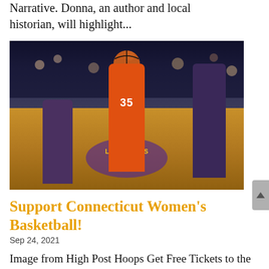Narrative. Donna, an author and local historian, will highlight...
[Figure (photo): WNBA basketball game photo showing a player in an orange Connecticut Sun jersey number 35 going up for a rebound against LA Sparks defenders in purple, on a hardwood court with the Sparks logo visible]
Support Connecticut Women's Basketball!
Sep 24, 2021
Image from High Post Hoops Get Free Tickets to the WNBA Playoffs! The